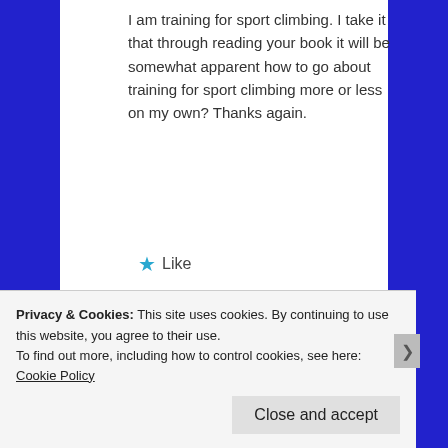I am training for sport climbing. I take it that through reading your book it will be somewhat apparent how to go about training for sport climbing more or less on my own? Thanks again.
★ Like
Advertisements
[Figure (logo): Longreads logo with red circle containing letter L and text LONGREADS]
Bringing you the best stories on the web since 2009.
REPORT THIS AD
Privacy & Cookies: This site uses cookies. By continuing to use this website, you agree to their use.
To find out more, including how to control cookies, see here: Cookie Policy
Close and accept